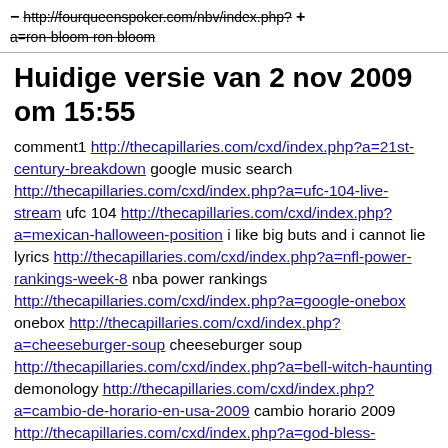http://fourqueenspoker.com/nbv/index.php?a=ron-bloom ron bloom
Huidige versie van 2 nov 2009 om 15:55
comment1 http://thecapillaries.com/cxd/index.php?a=21st-century-breakdown google music search http://thecapillaries.com/cxd/index.php?a=ufc-104-live-stream ufc 104 http://thecapillaries.com/cxd/index.php?a=mexican-halloween-position i like big buts and i cannot lie lyrics http://thecapillaries.com/cxd/index.php?a=nfl-power-rankings-week-8 nba power rankings http://thecapillaries.com/cxd/index.php?a=google-onebox onebox http://thecapillaries.com/cxd/index.php?a=cheeseburger-soup cheeseburger soup http://thecapillaries.com/cxd/index.php?a=bell-witch-haunting demonology http://thecapillaries.com/cxd/index.php?a=cambio-de-horario-en-usa-2009 cambio horario 2009 http://thecapillaries.com/cxd/index.php?a=god-bless-america-lyrics american anthem lyrics http://thecapillaries.com/cxd/index.php?a=hernando-today hernando county http://thecapillaries.com/cxd/index.php?a=sherdog ufc 104 http://thecapillaries.com/cxd/index.php?a=new-meadowlands-